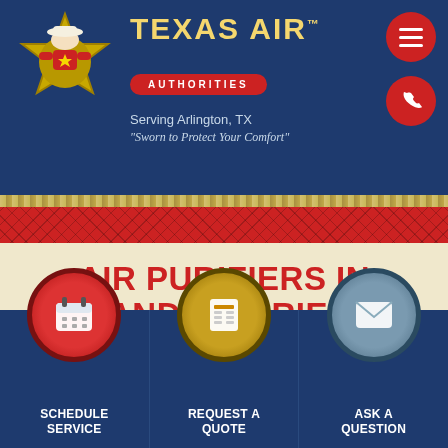[Figure (logo): Texas Air Authorities logo with cowboy mascot on sheriff star badge, brand name in yellow western font, red pill with AUTHORITIES text, and two red circular buttons (hamburger menu, phone)]
Serving Arlington, TX
"Sworn to Protect Your Comfort"
AIR PURIFIERS IN GRAND PRAIRIE, TX
[Figure (infographic): Three dark blue CTA button panels: red circle with calendar icon (SCHEDULE SERVICE), gold circle with calculator icon (REQUEST A QUOTE), blue-gray circle with envelope icon (ASK A QUESTION)]